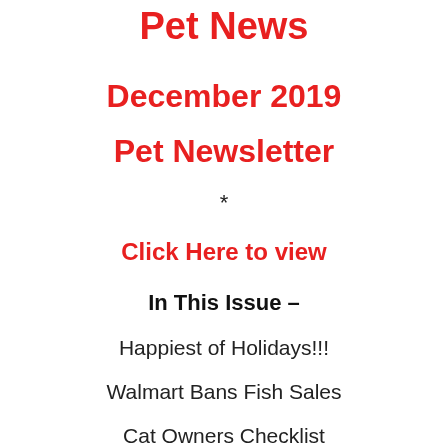Pet News
December 2019
Pet Newsletter
*
Click Here to view
In This Issue –
Happiest of Holidays!!!
Walmart Bans Fish Sales
Cat Owners Checklist